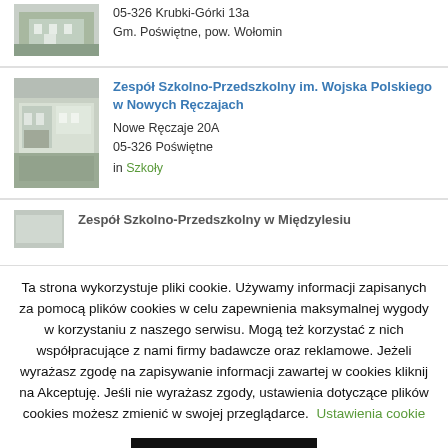05-326 Krubki-Górki 13a
Gm. Poświętne, pow. Wołomin
[Figure (photo): Building photo - school exterior]
Zespół Szkolno-Przedszkolny im. Wojska Polskiego w Nowych Ręczajach
Nowe Ręczaje 20A
05-326 Poświętne
in Szkoły
[Figure (photo): Building photo - school exterior with courtyard]
[Figure (photo): Partial building photo]
Zespół Szkolno-Przedszkolny w Międzylesiu
Ta strona wykorzystuje pliki cookie. Używamy informacji zapisanych za pomocą plików cookies w celu zapewnienia maksymalnej wygody w korzystaniu z naszego serwisu. Mogą też korzystać z nich współpracujące z nami firmy badawcze oraz reklamowe. Jeżeli wyrażasz zgodę na zapisywanie informacji zawartej w cookies kliknij na Akceptuję. Jeśli nie wyrażasz zgody, ustawienia dotyczące plików cookies możesz zmienić w swojej przeglądarce.
Ustawienia cookie
Akceptuję